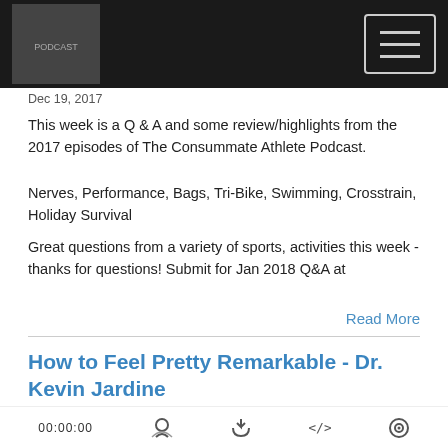Consummate Athlete Podcast - logo and navigation
Dec 19, 2017
This week is a Q & A and some review/highlights from the 2017 episodes of The Consummate Athlete Podcast.
Nerves, Performance, Bags, Tri-Bike, Swimming, Crosstrain, Holiday Survival
Great questions from a variety of sports, activities this week - thanks for questions! Submit for Jan 2018 Q&A at
Read More
How to Feel Pretty Remarkable - Dr. Kevin Jardine
[Figure (other): Podcast player widget for 'How to Feel Pretty Remarkable - Dr. Kevin Jar...' showing play button, podcast name CONSUMMATE ATHLETE PODCAST, episode title, and progress bar]
00:00:00